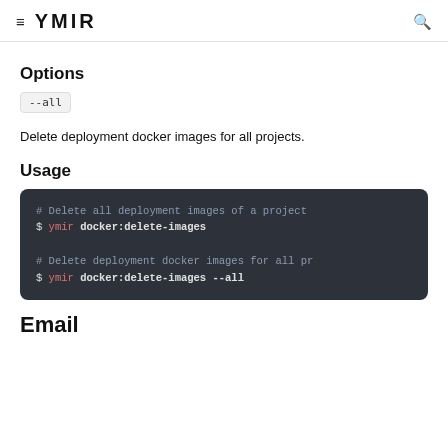≡ YMIR
Options
--all
Delete deployment docker images for all projects.
Usage
# Delete all deployment images of a project
$ ymir docker:delete-images

# Delete deployment docker images for all pr
$ ymir docker:delete-images --all
Email